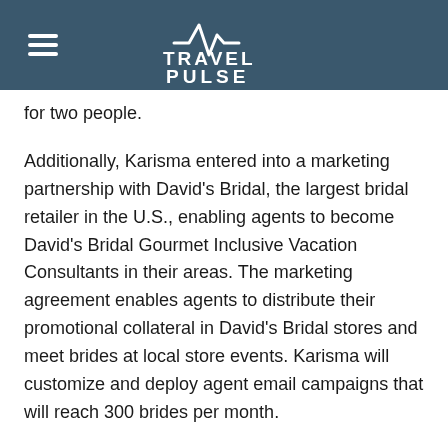TravelPulse
for two people.
Additionally, Karisma entered into a marketing partnership with David's Bridal, the largest bridal retailer in the U.S., enabling agents to become David's Bridal Gourmet Inclusive Vacation Consultants in their areas. The marketing agreement enables agents to distribute their promotional collateral in David's Bridal stores and meet brides at local store events. Karisma will customize and deploy agent email campaigns that will reach 300 brides per month.
To qualify to become a David's Bridal GIVC, agents pay David's Bridal a fee of $325 per month. Karisma will pay agents $350 for the first wedding they book, and…